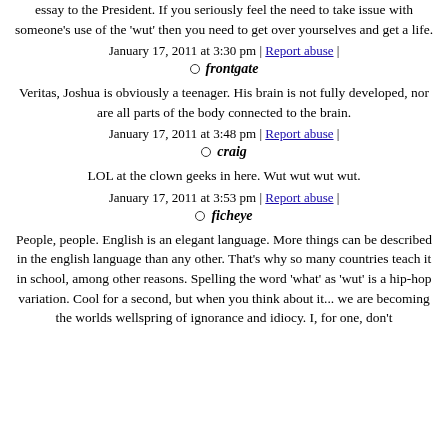essay to the President. If you seriously feel the need to take issue with someone's use of the 'wut' then you need to get over yourselves and get a life.
January 17, 2011 at 3:30 pm | Report abuse |
frontgate
Veritas, Joshua is obviously a teenager. His brain is not fully developed, nor are all parts of the body connected to the brain.
January 17, 2011 at 3:48 pm | Report abuse |
craig
LOL at the clown geeks in here. Wut wut wut wut.
January 17, 2011 at 3:53 pm | Report abuse |
ficheye
People, people. English is an elegant language. More things can be described in the english language than any other. That's why so many countries teach it in school, among other reasons. Spelling the word 'what' as 'wut' is a hip-hop variation. Cool for a second, but when you think about it... we are becoming the worlds wellspring of ignorance and idiocy. I, for one, don't